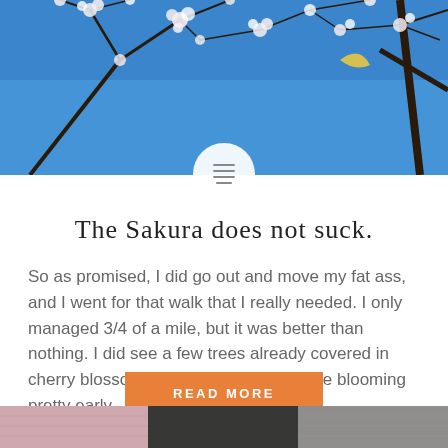[Figure (photo): Cherry blossom tree branches with white flowers against a blue sky, used as a blog post header image]
The Sakura does not suck.
So as promised, I did go out and move my fat ass, and I went for that walk that I really needed. I only managed 3/4 of a mile, but it was better than nothing. I did see a few trees already covered in cherry blossoms. It is weird that they are blooming pretty early...
READ MORE
[Figure (photo): Close-up photo of knitted or crocheted items in pink, dark, and gray colors at the bottom of the page]